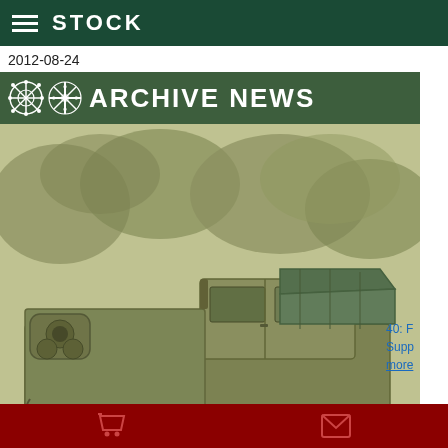STOCK
2012-08-24
ARCHIVE NEWS
[Figure (photo): Military tracked vehicle (M270 MLRS or similar) photographed outdoors, olive drab color with canvas cover over cargo area, surrounded by trees]
EX MOD VEHICLES, CARS & EQUIPMENT
2012-08-15
ARCHIVE NEWS
shopping cart and mail icons